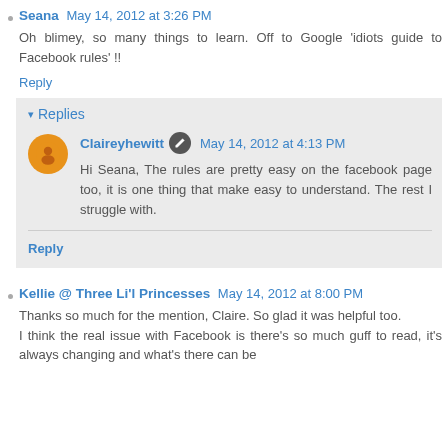Seana  May 14, 2012 at 3:26 PM
Oh blimey, so many things to learn. Off to Google 'idiots guide to Facebook rules' !!
Reply
Replies
Claireyhewitt  May 14, 2012 at 4:13 PM
Hi Seana, The rules are pretty easy on the facebook page too, it is one thing that make easy to understand. The rest I struggle with.
Reply
Kellie @ Three Li'l Princesses  May 14, 2012 at 8:00 PM
Thanks so much for the mention, Claire. So glad it was helpful too.
I think the real issue with Facebook is there's so much guff to read, it's always changing and what's there can be